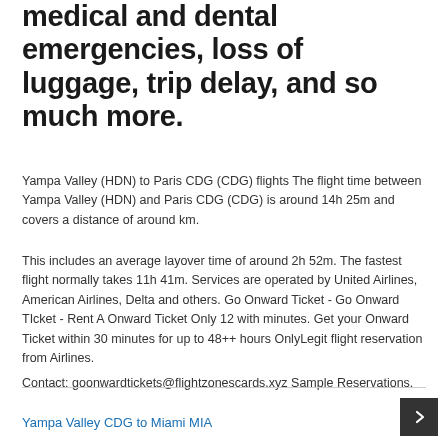medical and dental emergencies, loss of luggage, trip delay, and so much more.
Yampa Valley (HDN) to Paris CDG (CDG) flights The flight time between Yampa Valley (HDN) and Paris CDG (CDG) is around 14h 25m and covers a distance of around km.
This includes an average layover time of around 2h 52m. The fastest flight normally takes 11h 41m. Services are operated by United Airlines, American Airlines, Delta and others. Go Onward Ticket - Go Onward TIcket - Rent A Onward Ticket Only 12 with minutes. Get your Onward Ticket within 30 minutes for up to 48++ hours OnlyLegit flight reservation from Airlines.
Contact: goonwardtickets@flightzonescards.xyz Sample Reservations.